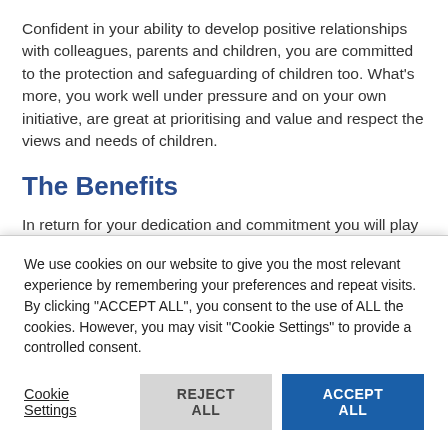Confident in your ability to develop positive relationships with colleagues, parents and children, you are committed to the protection and safeguarding of children too. What's more, you work well under pressure and on your own initiative, are great at prioritising and value and respect the views and needs of children.
The Benefits
In return for your dedication and commitment you will play an important role in a growing business that's
We use cookies on our website to give you the most relevant experience by remembering your preferences and repeat visits. By clicking "ACCEPT ALL", you consent to the use of ALL the cookies. However, you may visit "Cookie Settings" to provide a controlled consent.
Cookie Settings | REJECT ALL | ACCEPT ALL